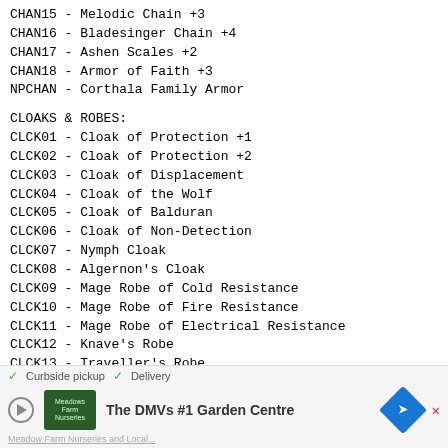CHAN15 - Melodic Chain +3
CHAN16 - Bladesinger Chain +4
CHAN17 - Ashen Scales +2
CHAN18 - Armor of Faith +3
NPCHAN - Corthala Family Armor
CLOAKS & ROBES:
CLCK01 - Cloak of Protection +1
CLCK02 - Cloak of Protection +2
CLCK03 - Cloak of Displacement
CLCK04 - Cloak of the Wolf
CLCK05 - Cloak of Balduran
CLCK06 - Cloak of Non-Detection
CLCK07 - Nymph Cloak
CLCK08 - Algernon's Cloak
CLCK09 - Mage Robe of Cold Resistance
CLCK10 - Mage Robe of Fire Resistance
CLCK11 - Mage Robe of Electrical Resistance
CLCK12 - Knave's Robe
CLCK13 - Traveller's Robe
CLCK14 - Adventurer's Robe
CLCK15 - Robe of the Good Archmagi
CLCK16 - Robe of the Neutral Archmagi
CLCK17 - Robe of the Evil Archmagi
CLCK18 - Knave's Robe
CLCK19 - Robe of the Good Archmagi
CLCK20 - Cloak of the Shield
[Figure (other): Advertisement banner for The DMVs #1 Garden Centre with play button, thumbnail, logo, and navigation arrow]